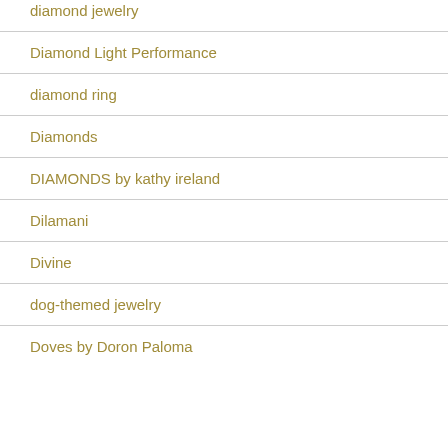diamond jewelry
Diamond Light Performance
diamond ring
Diamonds
DIAMONDS by kathy ireland
Dilamani
Divine
dog-themed jewelry
Doves by Doron Paloma